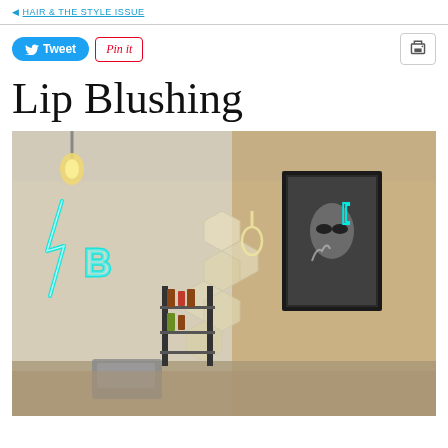Tweet  Pin it  [print icon]
Lip Blushing
[Figure (photo): Interior of a beauty salon or cosmetic studio showing neon signs on the wall including a lightning bolt and the letter B in cyan neon, decorative hexagonal wall panels, a framed black-and-white photo of a person wearing sunglasses with a neon sign overlay, product shelves with bottles, and a machine or device on the counter. Warm ambient lighting.]